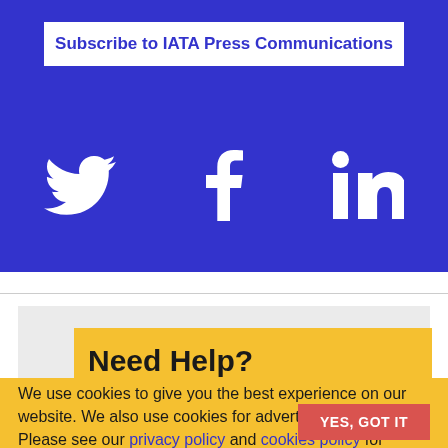Subscribe to IATA Press Communications
[Figure (illustration): Social media icons: Twitter bird, Facebook f, LinkedIn in — white on blue background]
Need Help?
We use cookies to give you the best experience on our website. We also use cookies for advertising purposes. Please see our privacy policy and cookies policy for complete information.
YES, GOT IT